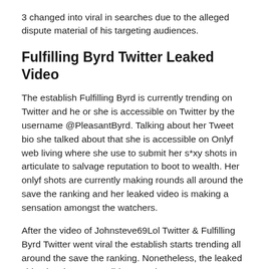3 changed into viral in searches due to the alleged dispute material of his targeting audiences.
Fulfilling Byrd Twitter Leaked Video
The establish Fulfilling Byrd is currently trending on Twitter and he or she is accessible on Twitter by the username @PleasantByrd. Talking about her Tweet bio she talked about that she is accessible on Onlyf web living where she use to submit her s*xy shots in articulate to salvage reputation to boot to wealth. Her onlyf shots are currently making rounds all around the save the ranking and her leaked video is making a sensation amongst the watchers.
After the video of Johnsteve69Lol Twitter & Fulfilling Byrd Twitter went viral the establish starts trending all around the save the ranking. Nonetheless, the leaked video just isn't accessible on Web anymore. Every Twitter accounts are identified for posting NSFW images and movies. As of now, handiest this powerful records is accessible regarding these accounts however as quickly as we catch any significant parts we will have the means to update this